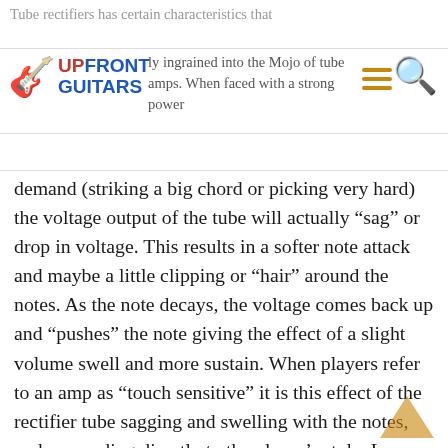Tube rectifiers has certain characteristics that are deeply ingrained into the Mojo of tube amps. When faced with a strong power
demand (striking a big chord or picking very hard) the voltage output of the tube will actually “sag” or drop in voltage. This results in a softer note attack and maybe a little clipping or “hair” around the notes. As the note decays, the voltage comes back up and “pushes” the note giving the effect of a slight volume swell and more sustain. When players refer to an amp as “touch sensitive” it is this effect of the rectifier tube sagging and swelling with the notes, and responding directly to the player’s style. Low wattage amplifiers with tube rectifiers have a nice spongy feel, warm sound and soft clipping that many players love. With all the boutique builders furiously cloning Champs and